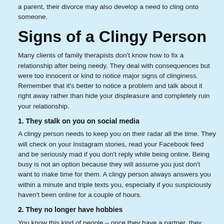a parent, their divorce may also develop a need to cling onto someone.
Signs of a Clingy Person
Many clients of family therapists don't know how to fix a relationship after being needy. They deal with consequences but were too innocent or kind to notice major signs of clinginess. Remember that it's better to notice a problem and talk about it right away rather than hide your displeasure and completely ruin your relationship.
1. They stalk on you on social media
A clingy person needs to keep you on their radar all the time. They will check on your Instagram stories, read your Facebook feed and be seriously mad if you don't reply while being online. Being busy is not an option because they will assume you just don't want to make time for them. A clingy person always answers you within a minute and triple texts you, especially if you suspiciously haven't been online for a couple of hours.
2. They no longer have hobbies
You know this kind of people – once they have a partner, they abandon all of their hobbies, friends, skip classes, don't appear on corporate events anymore. They dedicate 100% of their time to